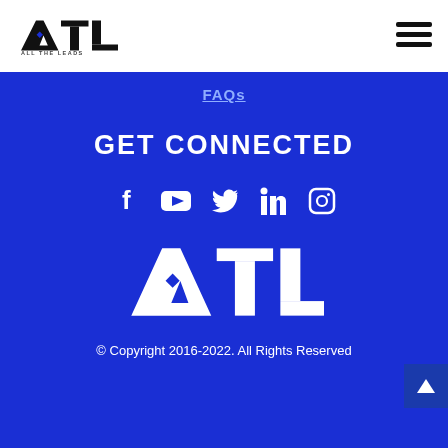[Figure (logo): ATL All The Leads logo in black and white, top left header]
[Figure (other): Hamburger menu icon (three horizontal lines) in top right header]
FAQs
GET CONNECTED
[Figure (other): Social media icons row: Facebook, YouTube, Twitter, LinkedIn, Instagram in white on blue background]
[Figure (logo): ATL logo in white on blue background (footer)]
© Copyright 2016-2022. All Rights Reserved